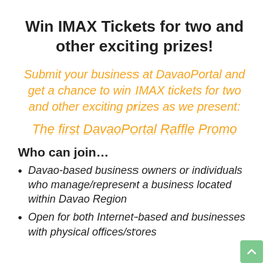Win IMAX Tickets for two and other exciting prizes!
Submit your business at DavaoPortal and get a chance to win IMAX tickets for two and other exciting prizes as we present:
The first DavaoPortal Raffle Promo
Who can join…
Davao-based business owners or individuals who manage/represent a business located within Davao Region
Open for both Internet-based and businesses with physical offices/stores